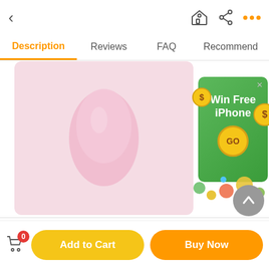< [home icon] [share icon] [more icon]
Description | Reviews | FAQ | Recommend
[Figure (photo): Pink silicone vase product image on pink background]
[Figure (infographic): Win Free iPhone promotional ad banner with green background, dollar coins, GO button]
|  |  |
| --- | --- |
| Product Name | Silicone vase |
| Material | Silicone |
Add to Cart | Buy Now | Cart (0)